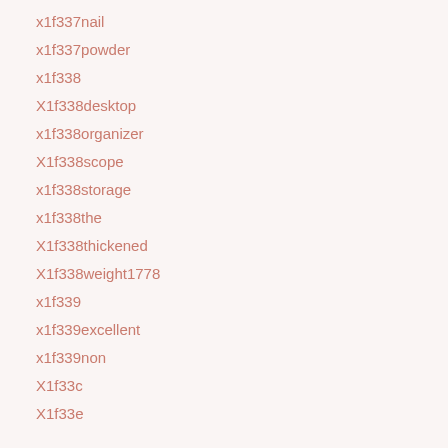x1f337nail
x1f337powder
x1f338
X1f338desktop
x1f338organizer
X1f338scope
x1f338storage
x1f338the
X1f338thickened
X1f338weight1778
x1f339
x1f339excellent
x1f339non
X1f33c
X1f33e